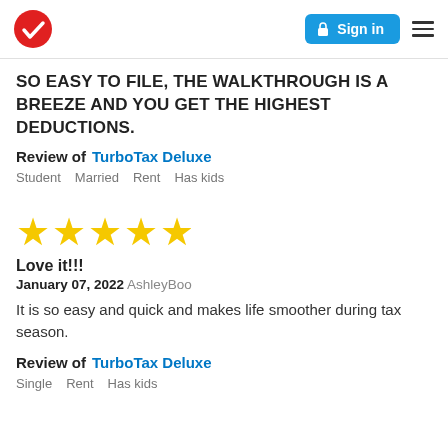TurboTax | Sign in
SO EASY TO FILE, THE WALKTHROUGH IS A BREEZE AND YOU GET THE HIGHEST DEDUCTIONS.
Review of TurboTax Deluxe
Student   Married   Rent   Has kids
[Figure (other): 5-star rating shown as five gold stars]
Love it!!!
January 07, 2022 AshleyBoo
It is so easy and quick and makes life smoother during tax season.
Review of TurboTax Deluxe
Single   Rent   Has kids